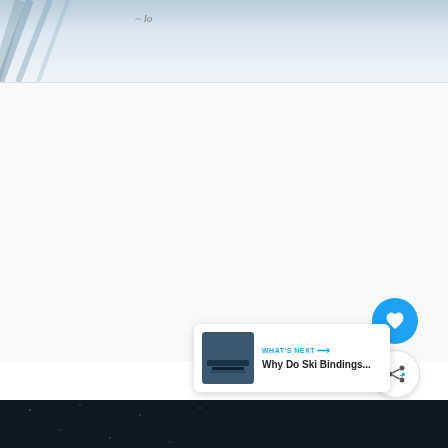[Figure (photo): Top portion of a snow/ski scene with ski shadow lines on white snow and a partial handwritten signature or text visible]
[Figure (screenshot): White/light gray content area (video or article body area) with a blue heart/like circular button and a white share circular button on the right side, and a 'What's Next' card in the bottom-right showing a ski bindings thumbnail and text 'WHAT'S NEXT → Why Do Ski Bindings...']
[Figure (photo): Dark banner at the bottom with 'SHE CAN STEM' in large white bold text and a 'W°' logo on the right]